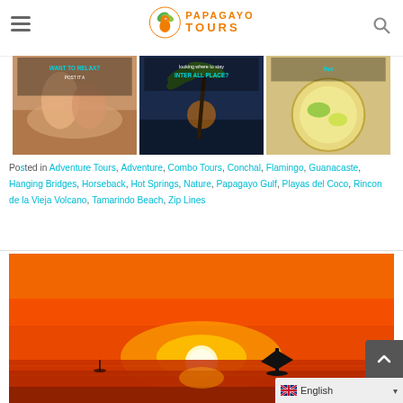Papagayo Tours
[Figure (photo): Three promotional thumbnail images side by side: massage/spa, palm tree beach, and food/dining]
Posted in Adventure Tours, Adventure, Combo Tours, Conchal, Flamingo, Guanacaste, Hanging Bridges, Horseback, Hot Springs, Nature, Papagayo Gulf, Playas del Coco, Rincon de la Vieja Volcano, Tamarindo Beach, Zip Lines
[Figure (photo): Sunset ocean photo with sailboat silhouette against vivid orange sky and sun on horizon]